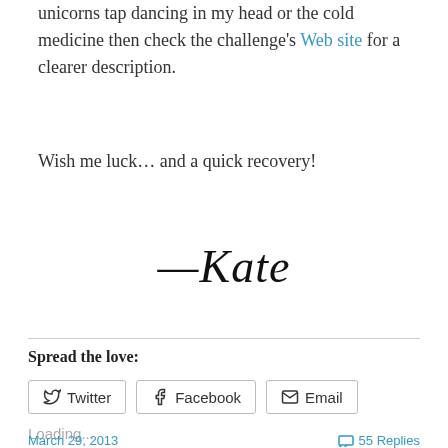unicorns tap dancing in my head or the cold medicine then check the challenge's Web site for a clearer description.
Wish me luck… and a quick recovery!
—Kate
Spread the love:
Twitter  Facebook  Email
Loading...
March 29, 2013   55 Replies